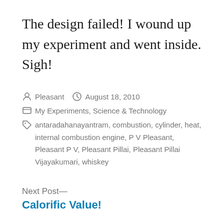The design failed! I wound up my experiment and went inside. Sigh!
Pleasant  August 18, 2010
My Experiments, Science & Technology
antaradahanayantram, combustion, cylinder, heat, internal combustion engine, P V Pleasant, Pleasant P V, Pleasant Pillai, Pleasant Pillai Vijayakumari, whiskey
Next Post— Calorific Value!